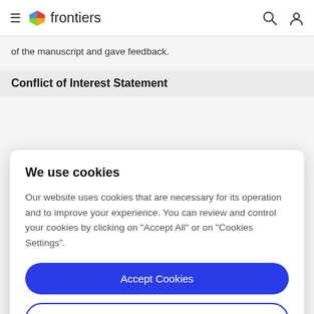frontiers
of the manuscript and gave feedback.
Conflict of Interest Statement
We use cookies
Our website uses cookies that are necessary for its operation and to improve your experience. You can review and control your cookies by clicking on "Accept All" or on "Cookies Settings".
Accept Cookies
Cookies Settings